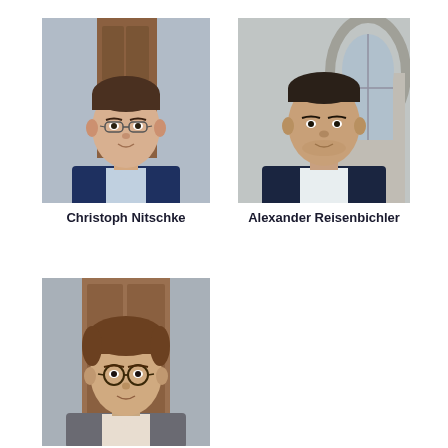[Figure (photo): Headshot portrait of Christoph Nitschke, a young man with glasses and short dark hair wearing a blue blazer, photographed outdoors in front of a wooden door]
Christoph Nitschke
[Figure (photo): Headshot portrait of Alexander Reisenbichler, a man with short dark hair wearing a dark blazer and white shirt, photographed outdoors in front of an arched window building]
Alexander Reisenbichler
[Figure (photo): Headshot portrait of a third person, a young man with brown wavy hair and round glasses wearing a grey blazer, photographed outdoors in front of a wooden door]